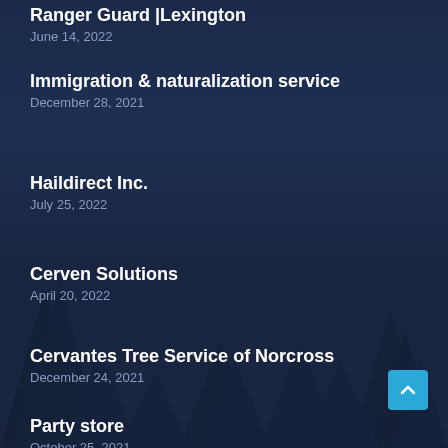Ranger Guard |Lexington
June 14, 2022
Immigration & naturalization service
December 28, 2021
Haildirect Inc.
July 25, 2022
Cerven Solutions
April 20, 2022
Cervantes Tree Service of Norcross
December 24, 2021
Party store
October 25, 2021